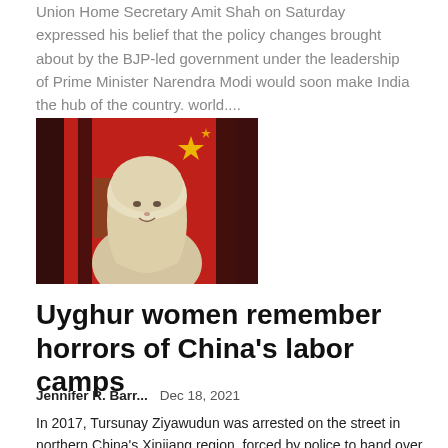Union Home Secretary Amit Shah on Saturday expressed his belief that the policy changes brought about by the BJP-led government under the leadership of Prime Minister Narendra Modi would soon make India the hub of the country. world....
[Figure (photo): Portrait of a woman wearing a white hijab against a red background with Chinese flag imagery]
Uyghur women remember horrors of China's labor camps
Jennifer R. Barr...   Dec 18, 2021
In 2017, Tursunay Ziyawudun was arrested on the street in northern China's Xinjiang region, forced by police to hand over her passport, and taken to a prison camp about 30 minutes from her